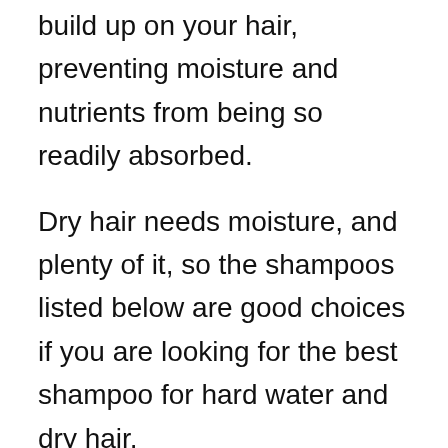build up on your hair, preventing moisture and nutrients from being so readily absorbed.
Dry hair needs moisture, and plenty of it, so the shampoos listed below are good choices if you are looking for the best shampoo for hard water and dry hair.
Thankfully, as the number of people who want natural products, without chemicals, that are kind to the environment grows, so does the availability of these products.